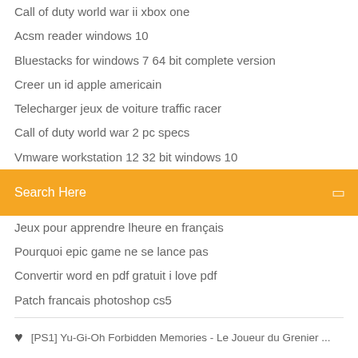Call of duty world war ii xbox one
Acsm reader windows 10
Bluestacks for windows 7 64 bit complete version
Creer un id apple americain
Telecharger jeux de voiture traffic racer
Call of duty world war 2 pc specs
Vmware workstation 12 32 bit windows 10
[Figure (other): Orange search bar with text 'Search Here' and a search icon on the right]
Jeux pour apprendre lheure en français
Pourquoi epic game ne se lance pas
Convertir word en pdf gratuit i love pdf
Patch francais photoshop cs5
♥  [PS1] Yu-Gi-Oh Forbidden Memories - Le Joueur du Grenier ...
f  𝕥  ⊛  Bē